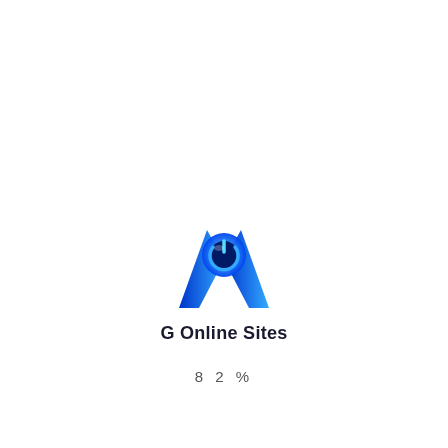[Figure (logo): G Online Sites logo: stylized letter M or A shape with a circular power button icon in blue gradient, above the text 'G Online Sites']
8 2 %